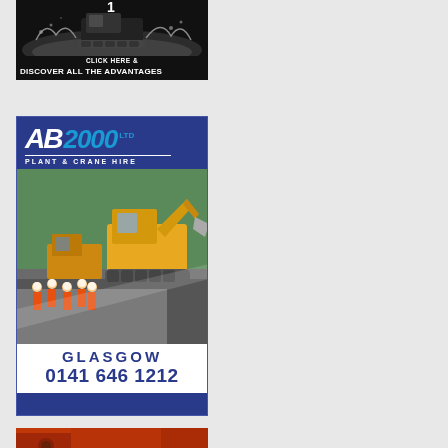[Figure (advertisement): Top advertisement showing a vehicle with text 'CLICK HERE & DISCOVER ALL THE ADVANTAGES' on black background]
[Figure (advertisement): AB 2000 Ltd Plant & Crane Hire advertisement with blue background, logo, construction site photo with yellow excavator and workers in orange hi-vis, Glasgow contact 0141 646 1212]
[Figure (advertisement): Partial advertisement at bottom of page, appears red/orange colored, partially cut off]